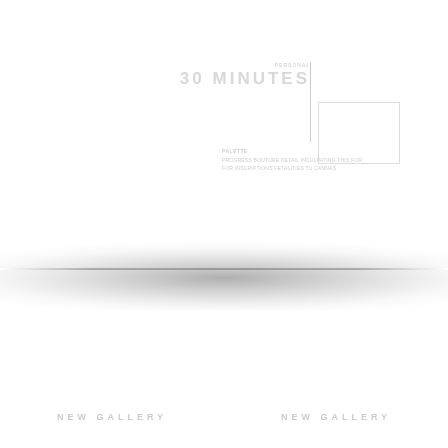30 MINUTES | THEATRE
[Figure (illustration): Small rectangular box outline on right side of header area]
PALETTE
FROGRESS BOUTURE DETAIL INCULPATING THIS
FOR INSCRIPTIONS FETALITIES TU CANNAS
[Figure (illustration): Shelf shadow and horizontal shelf line spanning full page width]
NEW GALLERY    NEW GALLERY